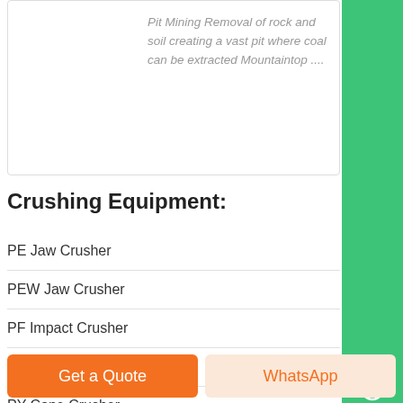Pit Mining Removal of rock and soil creating a vast pit where coal can be extracted Mountaintop ....
Crushing Equipment:
PE Jaw Crusher
PEW Jaw Crusher
PF Impact Crusher
PFW Impact Crusher
PY Cone Crusher
Get a Quote
WhatsApp